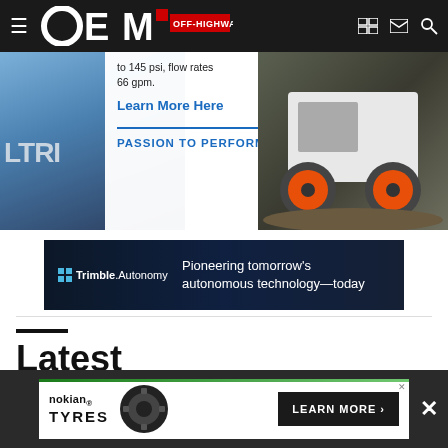[Figure (screenshot): OEM Off-Highway website header with logo and navigation icons]
[Figure (screenshot): Banner ad area showing hydraulic product with text 'to 145 psi, flow rates 66 gpm.' and 'Learn More Here' link, 'PASSION TO PERFORM' tagline, with construction equipment imagery on the right showing skid steer with orange wheels and excavator]
[Figure (screenshot): Trimble Autonomy banner ad: 'Pioneering tomorrow's autonomous technology-today']
Latest
[Figure (screenshot): Nokian Tyres bottom banner ad with 'LEARN MORE >' button and close X button on dark background]